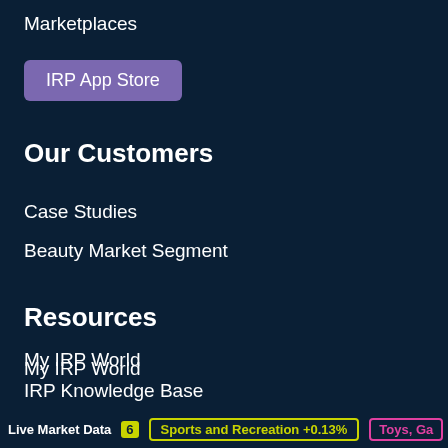Marketplaces
IRP App Store
Our Customers
Case Studies
Beauty Market Segment
Resources
My IRP World
IRP Knowledge Base
IRP Strategy Centre
IRP Attribution Standard
Live Market Data 6  Sports and Recreation +0.13%  Toys, Ga